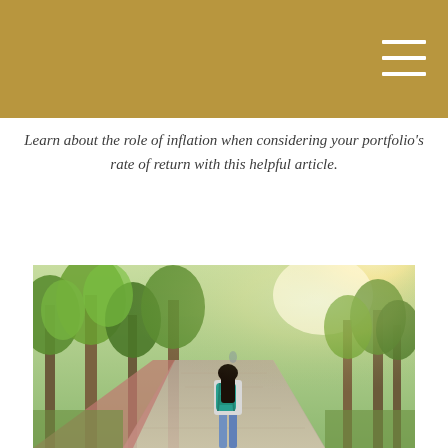Learn about the role of inflation when considering your portfolio’s rate of return with this helpful article.
[Figure (photo): A young woman with long dark hair carrying a teal/green backpack, walking down a sunny tree-lined park path with dappled sunlight shining through green trees.]